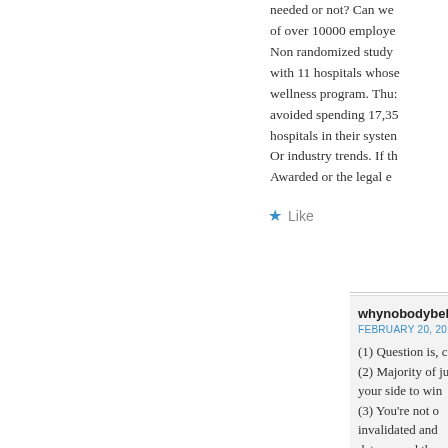needed or not? Can we of over 10000 employe... Non randomized study with 11 hospitals whose wellness program. Thus avoided spending 17,35 hospitals in their systen Or industry trends. If th Awarded or the legal e
★ Like
whynobodybelie
FEBRUARY 20, 2019 AT
(1) Question is, c (2) Majority of ju your side to win (3) You're not o invalidated and data — and the